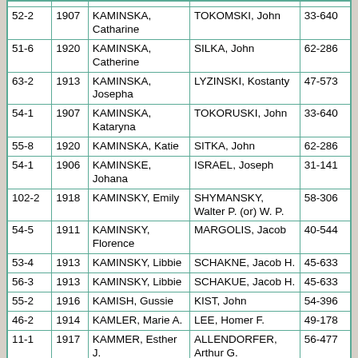|  |  |  |  |  |
| --- | --- | --- | --- | --- |
| 52-2 | 1907 | KAMINSKA, Catharine | TOKOMSKI, John | 33-640 |
| 51-6 | 1920 | KAMINSKA, Catherine | SILKA, John | 62-286 |
| 63-2 | 1913 | KAMINSKA, Josepha | LYZINSKI, Kostanty | 47-573 |
| 54-1 | 1907 | KAMINSKA, Kataryna | TOKORUSKI, John | 33-640 |
| 55-8 | 1920 | KAMINSKA, Katie | SITKA, John | 62-286 |
| 54-1 | 1906 | KAMINSKE, Johana | ISRAEL, Joseph | 31-141 |
| 102-2 | 1918 | KAMINSKY, Emily | SHYMANSKY, Walter P. (or) W. P. | 58-306 |
| 54-5 | 1911 | KAMINSKY, Florence | MARGOLIS, Jacob | 40-544 |
| 53-4 | 1913 | KAMINSKY, Libbie | SCHAKNE, Jacob H. | 45-633 |
| 56-3 | 1913 | KAMINSKY, Libbie | SCHAKUE, Jacob H. | 45-633 |
| 55-2 | 1916 | KAMISH, Gussie | KIST, John | 54-396 |
| 46-2 | 1914 | KAMLER, Marie A. | LEE, Homer F. | 49-178 |
| 11-1 | 1917 | KAMMER, Esther J. | ALLENDORFER, Arthur G. | 56-477 |
| 81-1 | 1916 | KAMMER, Gertrude A. | CLARK, Sylvester A. | 54-318 |
| 81-1 | 1908 | KAMMER, Louise | HEEELEY, Ross S. | 34-672 |